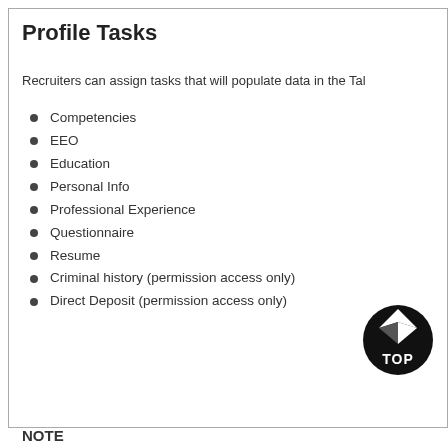Profile Tasks
Recruiters can assign tasks that will populate data in the Tal
Competencies
EEO
Education
Personal Info
Professional Experience
Questionnaire
Resume
Criminal history (permission access only)
Direct Deposit (permission access only)
[Figure (logo): TOP logo — black circular badge with diamond/arrow shape and 'TOP' text]
NOTE